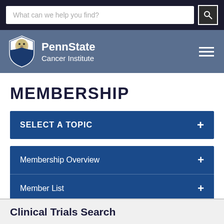What can we help you find?
[Figure (logo): PennState Cancer Institute logo with lion shield and text]
MEMBERSHIP
SELECT A TOPIC
Membership Overview
Member List
Clinical Trials Search